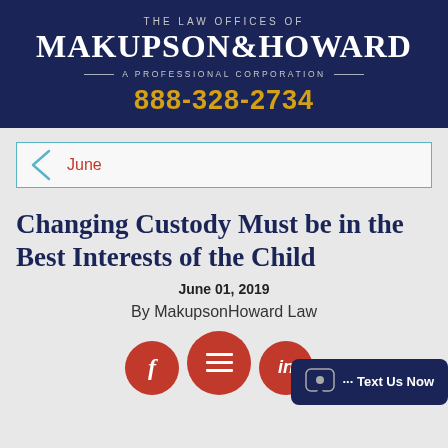THE LAW OFFICES OF MAKUPSON&HOWARD A PROFESSIONAL CORPORATION
888-328-2734
June
Changing Custody Must be in the Best Interests of the Child
June 01, 2019
By MakupsonHoward Law
[Figure (screenshot): Social media share buttons (Facebook, menu/share, LinkedIn) and a 'Text Us Now' chat bubble in dark navy blue]